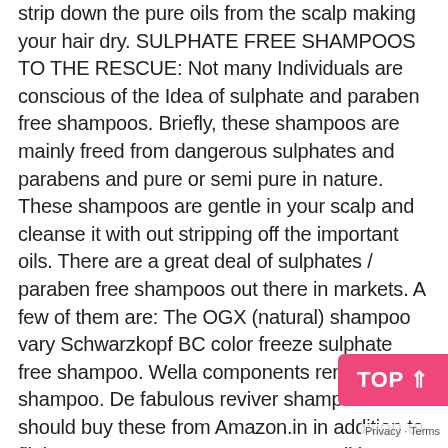strip down the pure oils from the scalp making your hair dry. SULPHATE FREE SHAMPOOS TO THE RESCUE: Not many Individuals are conscious of the Idea of sulphate and paraben free shampoos. Briefly, these shampoos are mainly freed from dangerous sulphates and parabens and pure or semi pure in nature. These shampoos are gentle in your scalp and cleanse it with out stripping off the important oils. There are a great deal of sulphates / paraben free shampoos out there in markets. A few of them are: The OGX (natural) shampoo vary Schwarzkopf BC color freeze sulphate free shampoo. Wella components renewing shampoo. De fabulous reviver shampoo. You should buy these from Amazon.in in addition to flipkart.com 3.CONDITIONERS: Conditioners have been well-known for the previous one decade. Conditioners construct up a protective layer on the Hair and shield them from injury. Additionally, conditioners are well-known for strengthening the hair strands and keep away from